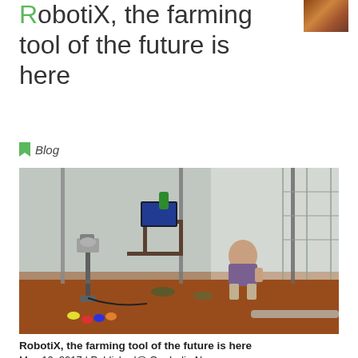RobotiX, the farming tool of the future is here
Blog
[Figure (photo): A farming robot device on a stick planted in soil inside a greenhouse polytunnel. A man squats in the background. A laptop sits on a chair behind the robot. Colorful markers are on the ground in the foreground.]
RobotiX, the farming tool of the future is here
May 10, 2017 | Published@ OneIndia News